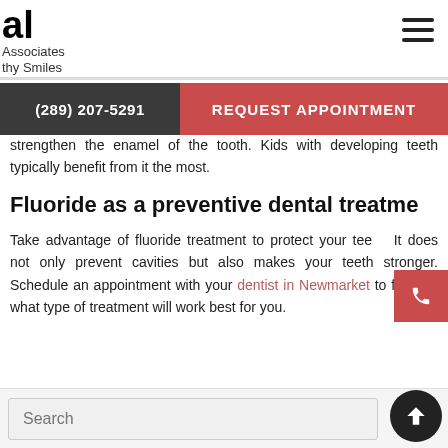al Associates Healthy Smiles
(289) 207-5291
REQUEST APPOINTMENT
strengthen the enamel of the tooth. Kids with developing teeth typically benefit from it the most.
Fluoride as a preventive dental treatment
Take advantage of fluoride treatment to protect your teeth. It does not only prevent cavities but also makes your teeth stronger. Schedule an appointment with your dentist in Newmarket to find out what type of treatment will work best for you.
Search